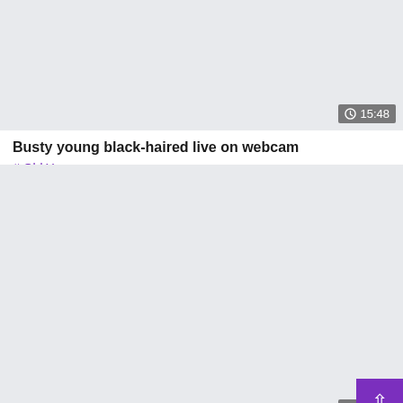[Figure (screenshot): Video thumbnail placeholder, light gray background with duration badge showing clock icon and 15:48]
Busty young black-haired live on webcam
# Old Young
[Figure (screenshot): Video thumbnail placeholder, light gray background with duration badge showing clock icon and 64:06, and a purple back-to-top button with upward arrow]
Retro Is The Hottest 63
# Straight